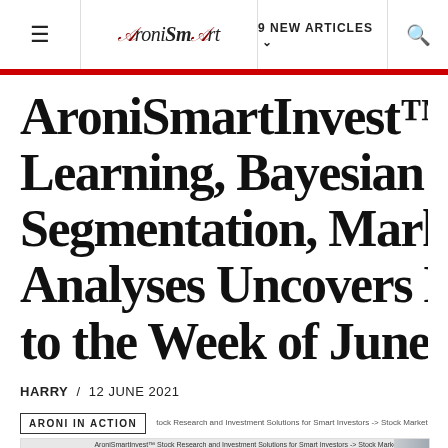≡  AroniSmart  9 NEW ARTICLES ∨  🔍
AroniSmartInvest™ in Action: Machine Learning, Bayesian Networks, Cluster Segmentation, Market Sentiment, and Text Analyses Uncovers Key Stocks Prior to the Week of June 14, 2021
HARRY / 12 JUNE 2021
[Figure (screenshot): Screenshot of AroniSmartInvest website showing Stock Market Profile page with navigation menu (Welcome, Stocks Profile, Portfolio Manager, Segmentation Analytics, News Feed Reader) and a form with fields for Ticker Symbol (FLWS), Company (1 800 Flowers.com Inc Cl A), Sector (Catalog & Mail Order Indu), Industry (Services), Trading Date, and an Enhance button.]